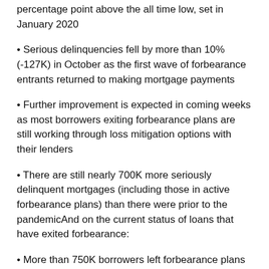percentage point above the all time low, set in January 2020
Serious delinquencies fell by more than 10% (-127K) in October as the first wave of forbearance entrants returned to making mortgage payments
Further improvement is expected in coming weeks as most borrowers exiting forbearance plans are still working through loss mitigation options with their lenders
There are still nearly 700K more seriously delinquent mortgages (including those in active forbearance plans) than there were prior to the pandemicAnd on the current status of loans that have exited forbearance:
More than 750K borrowers left forbearance plans over the past 45 days, and while the dust continues to settle on their post-forbearance performance, early trends